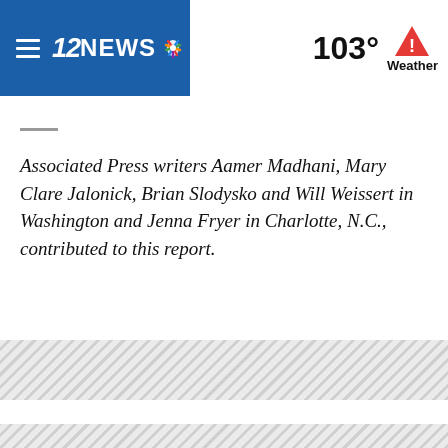12NEWS — 103° Weather
Associated Press writers Aamer Madhani, Mary Clare Jalonick, Brian Slodysko and Will Weissert in Washington and Jenna Fryer in Charlotte, N.C., contributed to this report.
[Figure (other): Striped/hatched decorative background areas at the bottom portion of the page]
[Figure (other): Second striped/hatched decorative background area at the very bottom of the page]